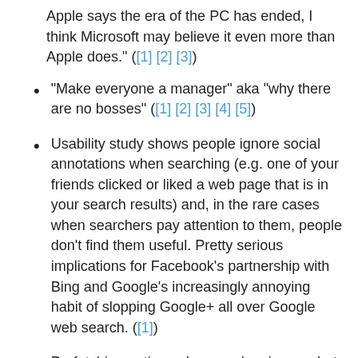Apple says the era of the PC has ended, I think Microsoft may believe it even more than Apple does." ([1] [2] [3])
"Make everyone a manager" aka "why there are no bosses" ([1] [2] [3] [4] [5])
Usability study shows people ignore social annotations when searching (e.g. one of your friends clicked or liked a web page that is in your search results) and, in the rare cases when searchers pay attention to them, people don't find them useful. Pretty serious implications for Facebook's partnership with Bing and Google's increasingly annoying habit of slopping Google+ all over Google web search. ([1])
Prefetching entire web pages has issues, but a lot of the benefit can be gained just with DNS prefetching and TCP preconnecting.  "If we guess right, the DNS and TCP handshake may...